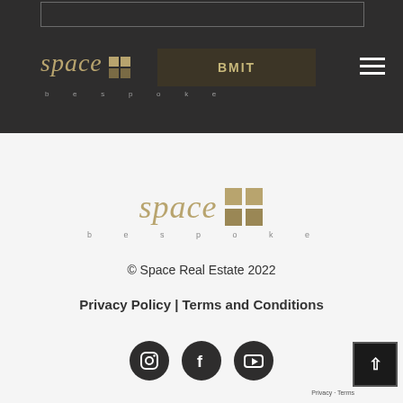[Figure (logo): Space bespoke logo in dark header bar with grid icon and SUBMIT button overlay]
[Figure (logo): Space bespoke logo centered in white area with grid icon]
© Space Real Estate 2022
Privacy Policy | Terms and Conditions
[Figure (other): Social media icons: Instagram, Facebook, YouTube in dark circles]